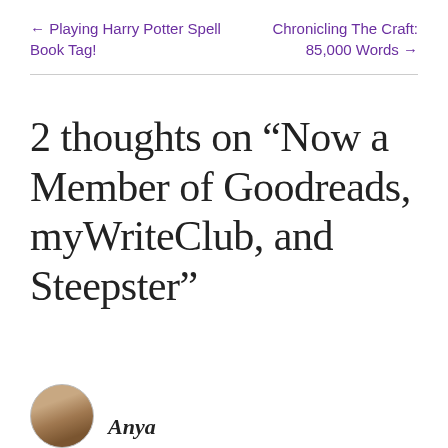← Playing Harry Potter Spell Book Tag!
Chronicling The Craft: 85,000 Words →
2 thoughts on “Now a Member of Goodreads, myWriteClub, and Steepster”
Anya